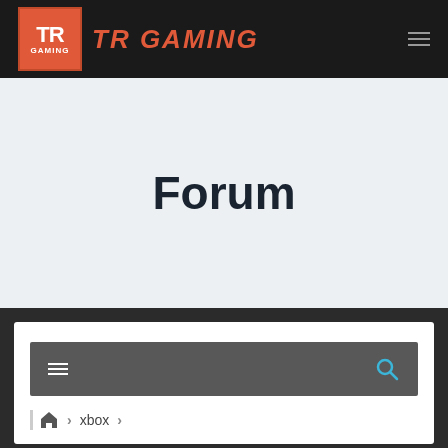TR GAMING
Forum
[Figure (screenshot): Forum toolbar with hamburger menu icon on left and search icon on right, dark gray background]
home > xbox